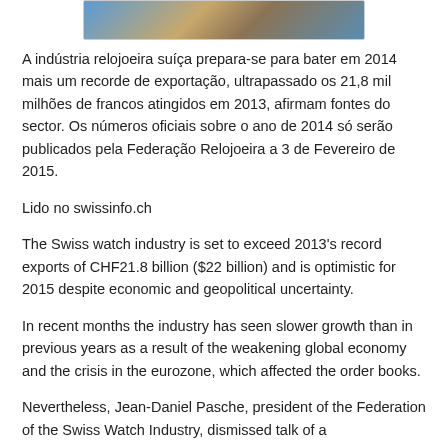[Figure (photo): Partial image of watches or Swiss watch industry related photo at the top of the page]
A indústria relojoeira suíça prepara-se para bater em 2014 mais um recorde de exportação, ultrapassado os 21,8 mil milhões de francos atingidos em 2013, afirmam fontes do sector. Os números oficiais sobre o ano de 2014 só serão publicados pela Federação Relojoeira a 3 de Fevereiro de 2015.
Lido no swissinfo.ch
The Swiss watch industry is set to exceed 2013's record exports of CHF21.8 billion ($22 billion) and is optimistic for 2015 despite economic and geopolitical uncertainty.
In recent months the industry has seen slower growth than in previous years as a result of the weakening global economy and the crisis in the eurozone, which affected the order books.
Nevertheless, Jean-Daniel Pasche, president of the Federation of the Swiss Watch Industry, dismissed talk of a